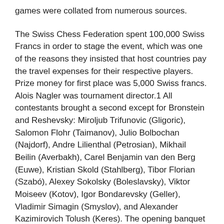games were collated from numerous sources.
The Swiss Chess Federation spent 100,000 Swiss Francs in order to stage the event, which was one of the reasons they insisted that host countries pay the travel expenses for their respective players. Prize money for first place was 5,000 Swiss francs. Alois Nagler was tournament director.1 All contestants brought a second except for Bronstein and Reshevsky: Miroljub Trifunovic (Gligoric), Salomon Flohr (Taimanov), Julio Bolbochan (Najdorf), Andre Lilienthal (Petrosian), Mikhail Beilin (Averbakh), Carel Benjamin van den Berg (Euwe), Kristian Skold (Stahlberg), Tibor Florian (Szabó), Alexey Sokolsky (Boleslavsky), Viktor Moiseev (Kotov), Igor Bondarevsky (Geller), Vladimir Simagin (Smyslov), and Alexander Kazimirovich Tolush (Keres). The opening banquet featured speeches by FIDE President Folke Rogard, Mark Taimanov, and Miguel Najdorf. Vasily Smyslov sang an aria from Italian opera and Taimanov played piano compositions by Tchaikovsky and Chopin. The players and their seconds stayed at the Bellevue Hotel in the beautiful